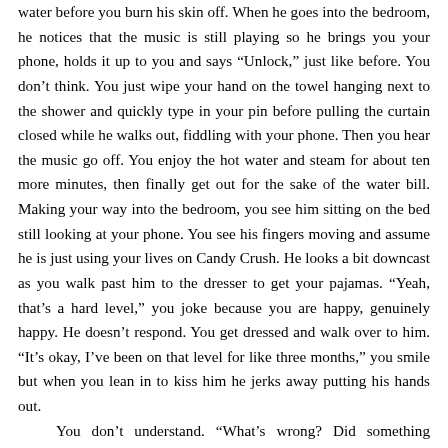water before you burn his skin off. When he goes into the bedroom, he notices that the music is still playing so he brings you your phone, holds it up to you and says “Unlock,” just like before. You don’t think. You just wipe your hand on the towel hanging next to the shower and quickly type in your pin before pulling the curtain closed while he walks out, fiddling with your phone. Then you hear the music go off. You enjoy the hot water and steam for about ten more minutes, then finally get out for the sake of the water bill. Making your way into the bedroom, you see him sitting on the bed still looking at your phone. You see his fingers moving and assume he is just using your lives on Candy Crush. He looks a bit downcast as you walk past him to the dresser to get your pajamas. “Yeah, that’s a hard level,” you joke because you are happy, genuinely happy. He doesn’t respond. You get dressed and walk over to him. “It’s okay, I’ve been on that level for like three months,” you smile but when you lean in to kiss him he jerks away putting his hands out.
	You don’t understand. “What’s wrong? Did something happen while I was in the shower?” you ask.